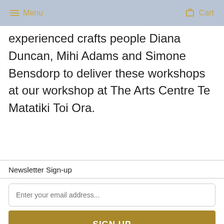Menu  Cart
experienced crafts people Diana Duncan, Mihi Adams and Simone Bensdorp to deliver these workshops at our workshop at The Arts Centre Te Matatiki Toi Ora.
Newsletter Sign-up
Enter your email address...
SIGN UP